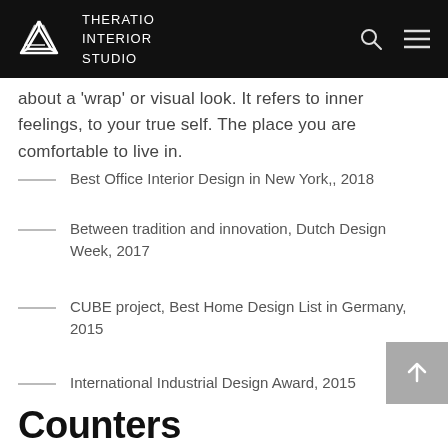THERATIO INTERIOR STUDIO
about a 'wrap' or visual look. It refers to inner feelings, to your true self. The place you are comfortable to live in.
Best Office Interior Design in New York,, 2018
Between tradition and innovation, Dutch Design Week, 2017
CUBE project, Best Home Design List in Germany, 2015
International Industrial Design Award, 2015
Counters